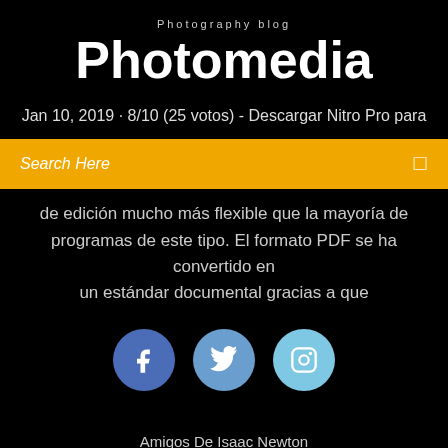Photography blog
Photomedia
Jan 10, 2019 · 8/10 (25 votos) - Descargar Nitro Pro para
Search Here
de edición mucho más flexible que la mayoría de programas de este tipo. El formato PDF se ha convertido en un estándar documental gracias a que
[Figure (illustration): Three social media icon circles: Facebook (blue), Twitter (light blue), Instagram (sky blue)]
Amigos De Isaac Newton
Format Penilaian Lomba Bayi Sehat